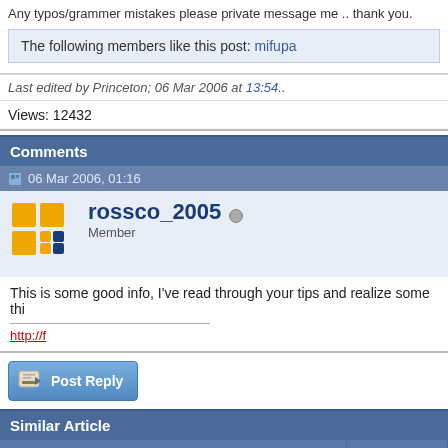Any typos/grammer mistakes please private message me .. thank you.
The following members like this post: mifupa
Last edited by Princeton; 06 Mar 2006 at 13:54..
Views: 12432
Comments
06 Mar 2006, 01:16
rossco_2005
Member
This is some good info, I've read through your tips and realize some thi
http://f
Similar Article
| Article | Au |
| --- | --- |
| Add-On Releases Forms Pack *** Forms Hack add-on | Deepdog009 |
| Forms Pack + (4) *** Forms Hack add-on | Deepdog009 |